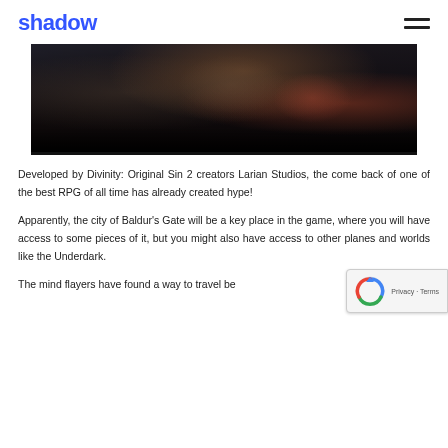shadow
[Figure (photo): Dark cinematic image showing a monstrous creature with fangs and teeth partially open, likely from Baldur's Gate 3 promotional material. Dark tones with browns and blacks.]
Developed by Divinity: Original Sin 2 creators Larian Studios, the come back of one of the best RPG of all time has already created hype!
Apparently, the city of Baldur's Gate will be a key place in the game, where you will have access to some pieces of it, but you might also have access to other planes and worlds like the Underdark.
The mind flayers have found a way to travel be...